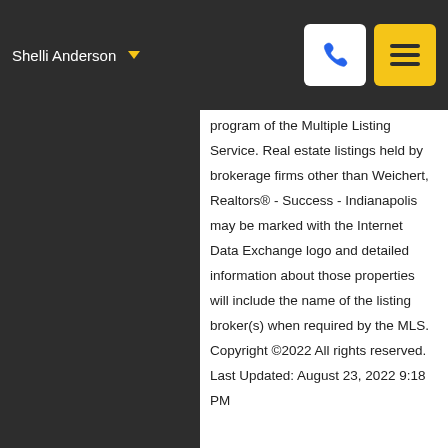Shelli Anderson
program of the Multiple Listing Service. Real estate listings held by brokerage firms other than Weichert, Realtors® - Success - Indianapolis may be marked with the Internet Data Exchange logo and detailed information about those properties will include the name of the listing broker(s) when required by the MLS. Copyright ©2022 All rights reserved. Last Updated: August 23, 2022 9:18 PM